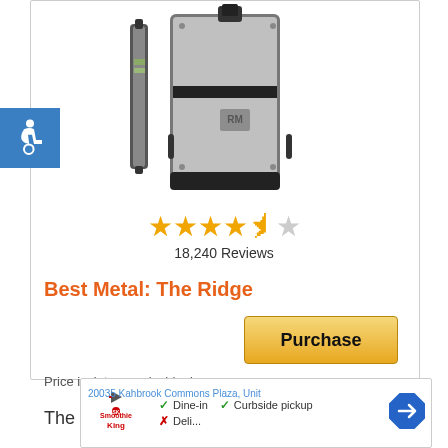[Figure (photo): The Ridge minimalist metal wallet product photo showing slim metal card holder with black elastic band and cash clip, viewed from side and front angles]
[Figure (other): Star rating showing approximately 4.5 out of 5 stars]
18,240 Reviews
Best Metal: The Ridge
Purchase
Price incl. tax, excl. shipping
The Ridge minimalist
20035 Kahbrook Commons Plaza, Unit
Dine-in   Curbside pickup